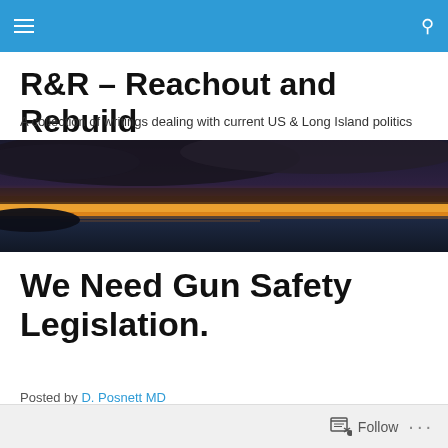R&R – Reachout and Rebuild (navigation bar)
R&R – Reachout and Rebuild
A collection of writings dealing with current US & Long Island politics
[Figure (photo): Sunset over water with dark clouds and orange horizon glow]
We Need Gun Safety Legislation.
Posted by D. Posnett MD
Follow ...